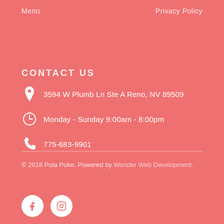Menu
Privacy Policy
CONTACT US
3594 W Plumb Ln Ste A Reno, NV 89509
Monday - Sunday 9:00am - 8:00pm
775-683-9901
© 2018 Pola Poke. Powered by Wonder Web Development.
[Figure (illustration): Facebook and Instagram social media circular icon buttons in white on coral background]